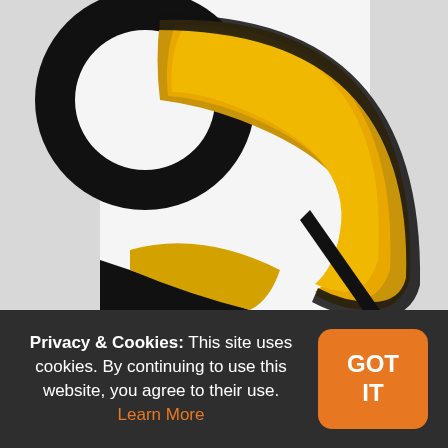[Figure (illustration): Close-up photo of a large graphic with black and golden-yellow curved shapes on a white background — appears to be a zoomed-in portion of a logo or emblem with bold black outlines and a thick yellow/gold arc or ring shape.]
Privacy & Cookies: This site uses cookies. By continuing to use this website, you agree to their use. Learn More
GOT IT